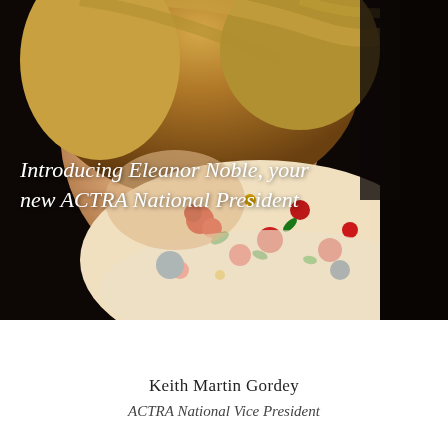[Figure (photo): Close-up photo of a woman (Eleanor Noble) with brown hair, wearing a floral patterned top, against a dark background.]
Introducing Eleanor Noble, your new ACTRA National President
Keith Martin Gordey
ACTRA National Vice President